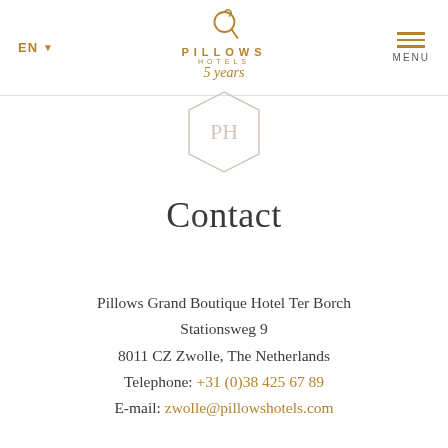EN | Pillows Hotels 5 years | MENU
[Figure (logo): Pillows Hotels 5 years badge logo with hexagonal shape]
Contact
Pillows Grand Boutique Hotel Ter Borch
Stationsweg 9
8011 CZ Zwolle, The Netherlands
Telephone: +31 (0)38 425 67 89
E-mail: zwolle@pillowshotels.com